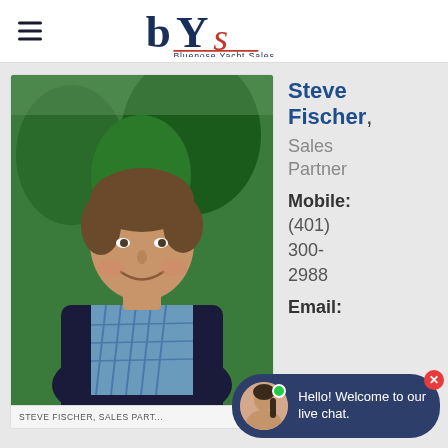Bluenose Yacht Sales
[Figure (photo): Headshot photo of Steve Fischer, a middle-aged man with brown hair wearing a blue plaid shirt and dark blazer, smiling, with trees in the background]
STEVE FISCHER, SALES PART...
Steve Fischer, Sales Partner Mobile: (401) 300-2988 Email: